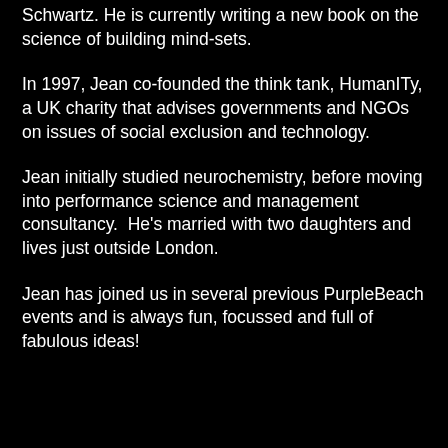Schwartz. He is currently writing a new book on the science of building mind-sets.
In 1997, Jean co-founded the think tank, HumanITy, a UK charity that advises governments and NGOs on issues of social exclusion and technology.
Jean initially studied neurochemistry, before moving into performance science and management consultancy.  He's married with two daughters and lives just outside London.
Jean has joined us in several previous PurpleBeach events and is always fun, focussed and full of fabulous ideas!